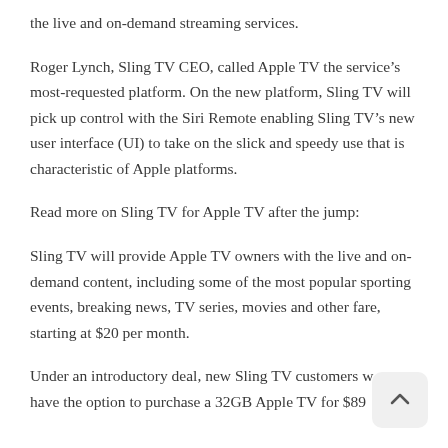the live and on-demand streaming services.
Roger Lynch, Sling TV CEO, called Apple TV the service’s most-requested platform. On the new platform, Sling TV will pick up control with the Siri Remote enabling Sling TV’s new user interface (UI) to take on the slick and speedy use that is characteristic of Apple platforms.
Read more on Sling TV for Apple TV after the jump:
Sling TV will provide Apple TV owners with the live and on-demand content, including some of the most popular sporting events, breaking news, TV series, movies and other fare, starting at $20 per month.
Under an introductory deal, new Sling TV customers will have the option to purchase a 32GB Apple TV for $89